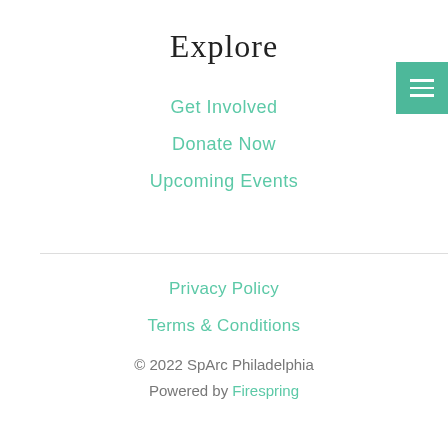Explore
Get Involved
Donate Now
Upcoming Events
Privacy Policy
Terms & Conditions
© 2022 SpArc Philadelphia
Powered by Firespring